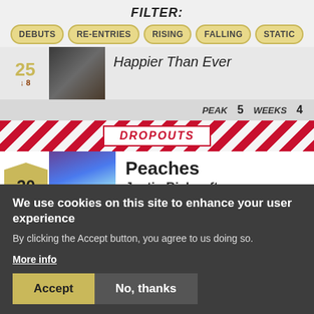FILTER:
DEBUTS
RE-ENTRIES
RISING
FALLING
STATIC
Happier Than Ever
PEAK 5 WEEKS 4
DROPOUTS
Peaches
Justin Bieber ft. Daniel Caesar &
20
We use cookies on this site to enhance your user experience
By clicking the Accept button, you agree to us doing so.
More info
Accept
No, thanks